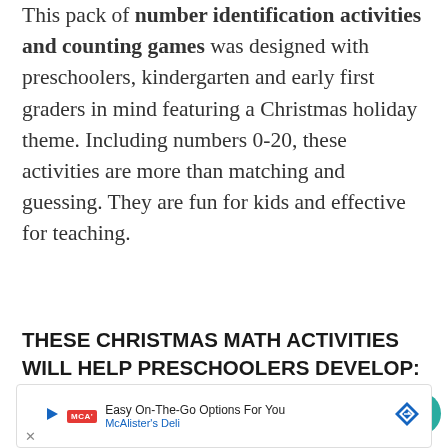This pack of number identification activities and counting games was designed with preschoolers, kindergarten and early first graders in mind featuring a Christmas holiday theme. Including numbers 0-20, these activities are more than matching and guessing. They are fun for kids and effective for teaching.
THESE CHRISTMAS MATH ACTIVITIES WILL HELP PRESCHOOLERS DEVELOP:
number identification skills
one to one correspondence
number sequencing
number order
[Figure (other): Advertisement banner for McAlister's Deli - Easy On-The-Go Options For You]